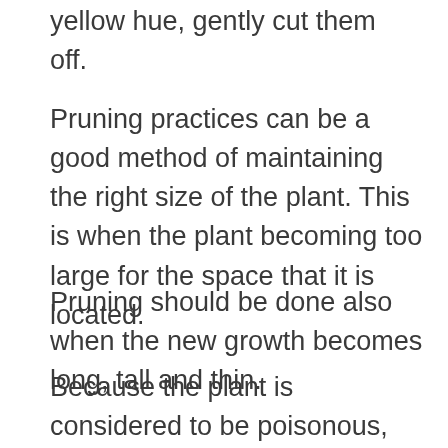yellow hue, gently cut them off.
Pruning practices can be a good method of maintaining the right size of the plant. This is when the plant becoming too large for the space that it is located.
Pruning should be done also when the new growth becomes long, tall and thin.
Because the plant is considered to be poisonous, carefully wash any tools involved after pruning. Stainless steel hand pruning shears are the easiest type of pruning tools